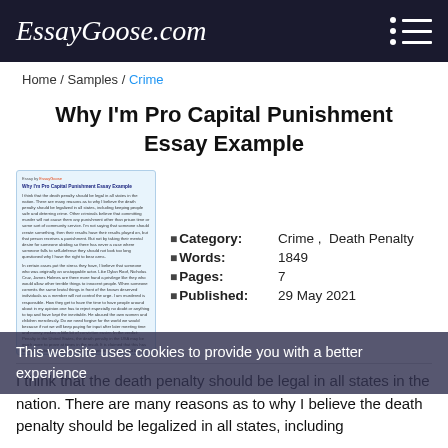EssayGoose.com
Home / Samples / Crime
Why I'm Pro Capital Punishment Essay Example
[Figure (illustration): Thumbnail preview of the essay document with title and introductory text]
Category: Crime, Death Penalty
Words: 1849
Pages: 7
Published: 29 May 2021
I think that the death penalty should be legal in all states in the nation. There are many reasons as to why I believe the death penalty should be legalized in all states, including
This website uses cookies to provide you with a better experience